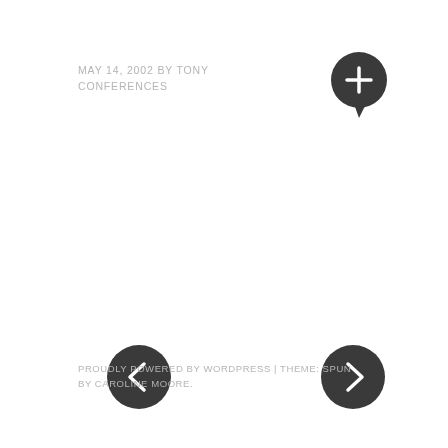MAY 14, 2002 BY TONY
CONFERENCES
[Figure (illustration): Dark circular speech bubble / comment icon with a white plus sign, positioned top right]
[Figure (illustration): Dark circular button with white left arrow, positioned left center]
[Figure (illustration): Dark circular button with white right arrow, positioned right center]
[Figure (illustration): Dark circular button with white plus sign, positioned center bottom]
PROUDLY POWERED BY WORDPRESS | THEME: SPUN BY CAROLINE MOORE.